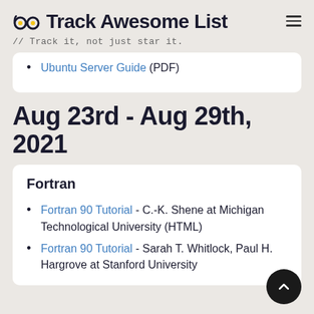Track Awesome List // Track it, not just star it.
Ubuntu Server Guide (PDF)
Aug 23rd - Aug 29th, 2021
Fortran
Fortran 90 Tutorial - C.-K. Shene at Michigan Technological University (HTML)
Fortran 90 Tutorial - Sarah T. Whitlock, Paul H. Hargrove at Stanford University (HTML)